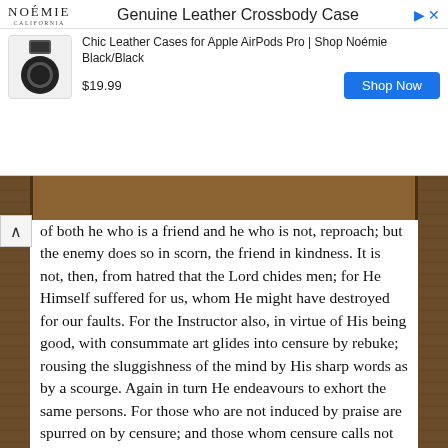[Figure (other): Advertisement banner for Noémie Genuine Leather Crossbody Case showing product image, price $19.99, and Shop Now button]
of both he who is a friend and he who is not, reproach; but the enemy does so in scorn, the friend in kindness. It is not, then, from hatred that the Lord chides men; for He Himself suffered for us, whom He might have destroyed for our faults. For the Instructor also, in virtue of His being good, with consummate art glides into censure by rebuke; rousing the sluggishness of the mind by His sharp words as by a scourge. Again in turn He endeavours to exhort the same persons. For those who are not induced by praise are spurred on by censure; and those whom censure calls not forth to salvation being as dead, are by denunciation roused to the truth. "For the stripes and correction of wisdom are in all time." "For teaching a fool is gluing a potsherd; and sharpening to sense a hopeless blockhead is bringing earth to sensation.'" Wherefore He adds plainly, "rousing the sleeper from deep sleep," which of all things else is likest death.